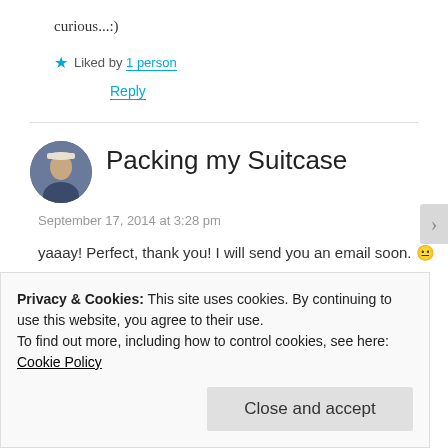curious...:)
★ Liked by 1 person
Reply
Packing my Suitcase
September 17, 2014 at 3:28 pm
yaaay! Perfect, thank you! I will send you an email soon. 😐
Privacy & Cookies: This site uses cookies. By continuing to use this website, you agree to their use.
To find out more, including how to control cookies, see here:
Cookie Policy